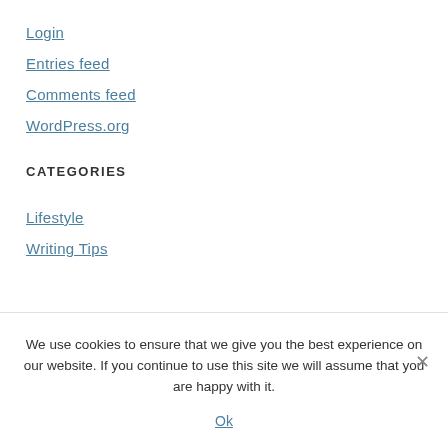Login
Entries feed
Comments feed
WordPress.org
CATEGORIES
Lifestyle
Writing Tips
AMAZON ASSOCIATES DISCLOSURE
We use cookies to ensure that we give you the best experience on our website. If you continue to use this site we will assume that you are happy with it.
Ok